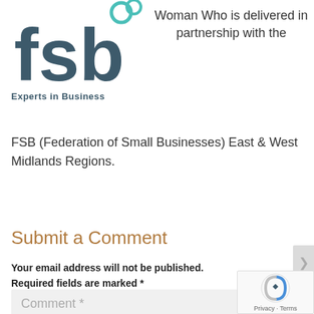[Figure (logo): FSB logo with 'fsb' text in dark teal/slate and two teal circles, with 'Experts in Business' tagline below]
Woman Who is delivered in partnership with the FSB (Federation of Small Businesses) East & West Midlands Regions.
Submit a Comment
Your email address will not be published. Required fields are marked *
Comment *